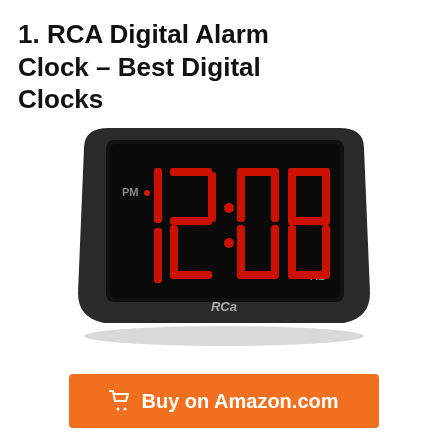1. RCA Digital Alarm Clock – Best Digital Clocks
[Figure (photo): RCA Digital Alarm Clock with black casing, large red LED display showing 12:08 PM, with PM indicator on left and AL indicator on lower right, RCA logo on front]
Buy on Amazon.com